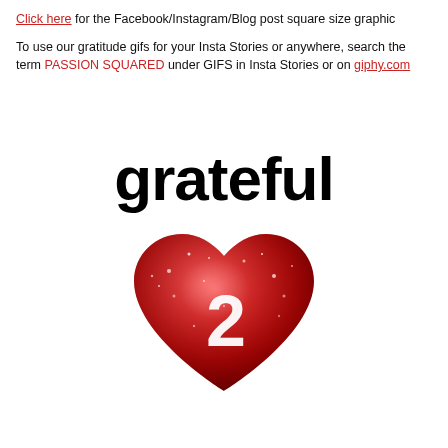Click here for the Facebook/Instagram/Blog post square size graphic
To use our gratitude gifs for your Insta Stories or anywhere, search the term PASSION SQUARED under GIFS in Insta Stories or on giphy.com
[Figure (logo): Passion Squared logo: bold black text 'grateful' above a red glittery heart with a white '2' superimposed on it]